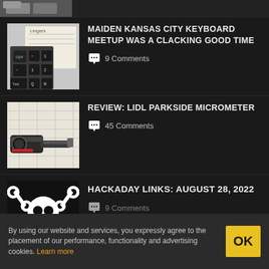[Figure (photo): Partial view of keyboard keys from the top]
MAIDEN KANSAS CITY KEYBOARD MEETUP WAS A CLACKING GOOD TIME
9 Comments
[Figure (photo): Micrometer tool on top of technical drawings]
REVIEW: LIDL PARKSIDE MICROMETER
45 Comments
[Figure (illustration): Hackaday skull and crosswrenches logo on dark background]
HACKADAY LINKS: AUGUST 28, 2022
9 Comments
By using our website and services, you expressly agree to the placement of our performance, functionality and advertising cookies. Learn more